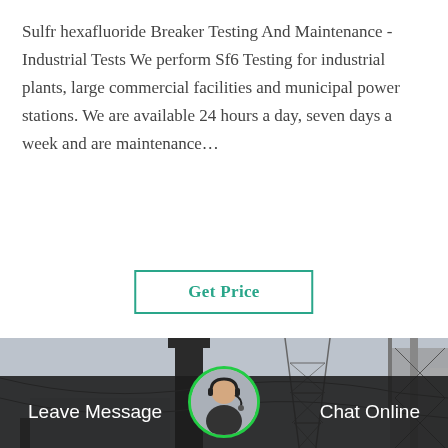Sulfr hexafluoride Breaker Testing And Maintenance - Industrial Tests We perform Sf6 Testing for industrial plants, large commercial facilities and municipal power stations. We are available 24 hours a day, seven days a week and are maintenance…
Get Price
[Figure (photo): Industrial electrical substation with transmission towers, high-voltage lines, steel lattice structures, and equipment in an outdoor setting under an overcast sky.]
Leave Message
Chat Online